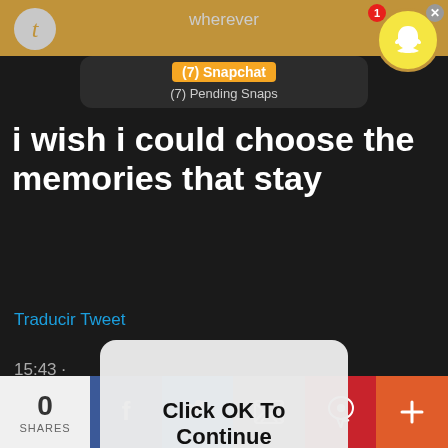[Figure (screenshot): Mobile screenshot showing a Tumblr/Twitter post with overlapping Snapchat notification and a system dialog. The tweet reads 'i wish i could choose the memories that stay'. There is a Snapchat notification bar showing '(7) Snapchat / (7) Pending Snaps', a Snapchat ghost icon top right with badge '1', a 'Click OK To Continue' dialog in the center, hashtags in orange, '1K notes · View notes', and a sharing bar at the bottom with 0 SHARES, Facebook, Twitter, email, Pinterest, and + buttons.]